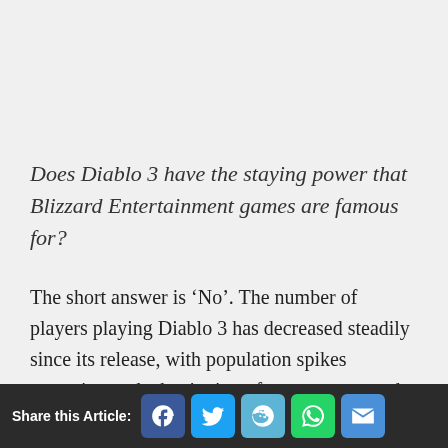Does Diablo 3 have the staying power that Blizzard Entertainment games are famous for?
The short answer is ‘No’. The number of players playing Diablo 3 has decreased steadily since its release, with population spikes occurring at the beginning of new seasons and the release of the expansion, Reaper of Souls. This is to be expected though, as few games have been able to
Share this Article: